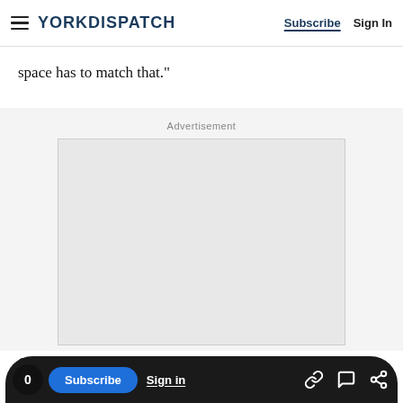YORK DISPATCH | Subscribe | Sign In
space has to match that."
Advertisement
[Figure (other): Empty advertisement placeholder box with light grey background and border]
On Thursday, the YWCA entered into its "public
0 | Subscribe | Sign in